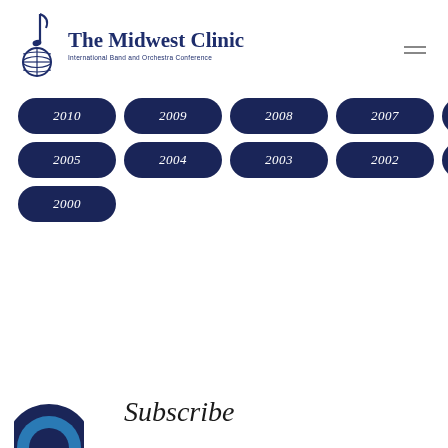[Figure (logo): The Midwest Clinic logo with musical note and globe icon, text reading 'The Midwest Clinic' and 'International Band and Orchestra Conference']
2010
2009
2008
2007
2006
2005
2004
2003
2002
2001
2000
Subscribe